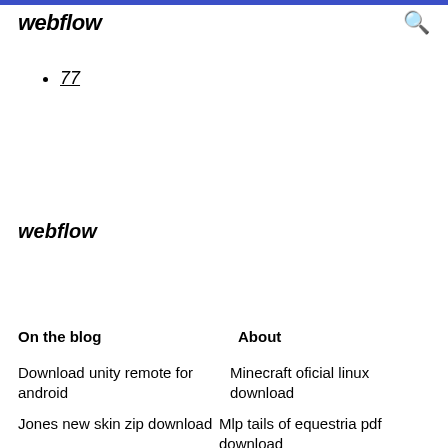webflow
77
webflow
On the blog
About
Download unity remote for android
Minecraft oficial linux download
Jones new skin zip download
Mlp tails of equestria pdf download